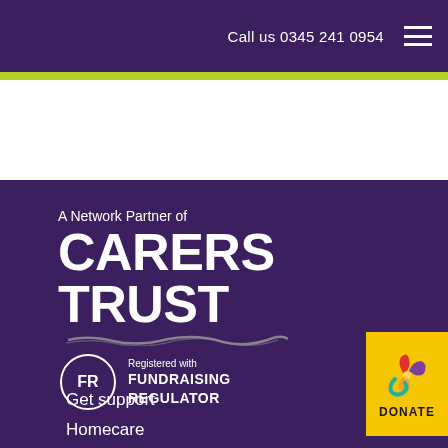Call us 0345 241 0954
[Figure (logo): A Network Partner of CARERS TRUST logo with white text on purple background and a hand-drawn underline]
[Figure (logo): Registered with Fundraising Regulator badge with FR circle icon]
[Figure (logo): DONATE button with yellow background and colorful flower/splash icon]
Get support
Homecare